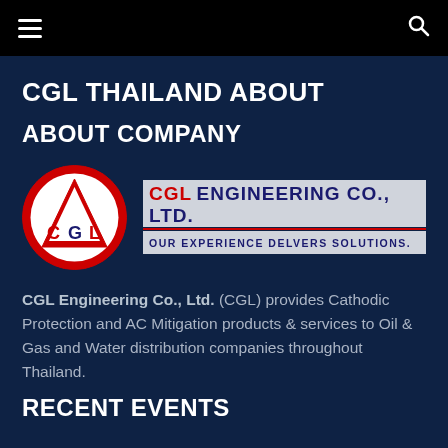☰   🔍
CGL THAILAND ABOUT
ABOUT COMPANY
[Figure (logo): CGL Engineering Co., Ltd. logo — red circle with white triangle and C G L letters inside, next to bold text 'CGL ENGINEERING CO., LTD.' and tagline 'OUR EXPERIENCE DELVERS SOLUTIONS.']
CGL Engineering Co., Ltd. (CGL) provides Cathodic Protection and AC Mitigation products & services to Oil & Gas and Water distribution companies throughout Thailand.
RECENT EVENTS